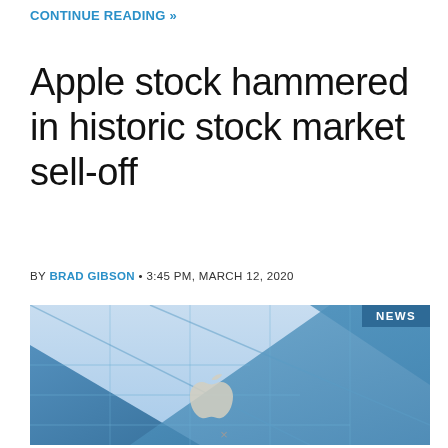CONTINUE READING »
Apple stock hammered in historic stock market sell-off
BY BRAD GIBSON • 3:45 PM, MARCH 12, 2020
[Figure (photo): Exterior of Apple Store building showing glass facade with Apple logo and blue sky, with NEWS banner overlay in top right corner]